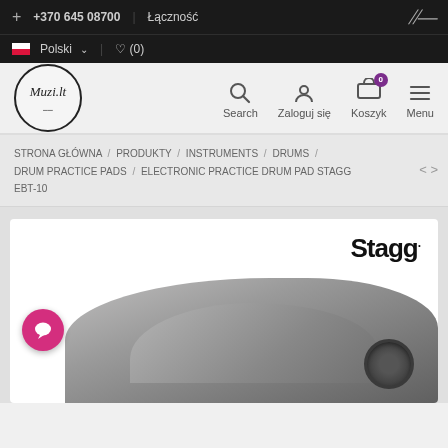+ +370 645 08700 | Łączność | [logo script]
🇵🇱 Polski ∨ | ♡ (0)
Muzi.lt — Search | Zaloguj się | Koszyk | Menu
STRONA GŁÓWNA / PRODUKTY / INSTRUMENTS / DRUMS / DRUM PRACTICE PADS / ELECTRONIC PRACTICE DRUM PAD STAGG EBT-10
[Figure (photo): Product page showing Stagg electronic practice drum pad EBT-10 with Stagg logo and drum pad photo]